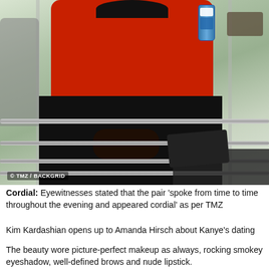[Figure (photo): A man wearing a red sweatshirt and black pants sitting on bleachers. A Fiji water bottle is visible in the background. Copyright watermark reads '© TMZ / BACKGRID'.]
Cordial: Eyewitnesses stated that the pair 'spoke from time to time throughout the evening and appeared cordial' as per TMZ
Kim Kardashian opens up to Amanda Hirsch about Kanye's dating
The beauty wore picture-perfect makeup as always, rocking smokey eyeshadow, well-defined brows and nude lipstick.
Meanwhile the pair is reported to haveightened her li...